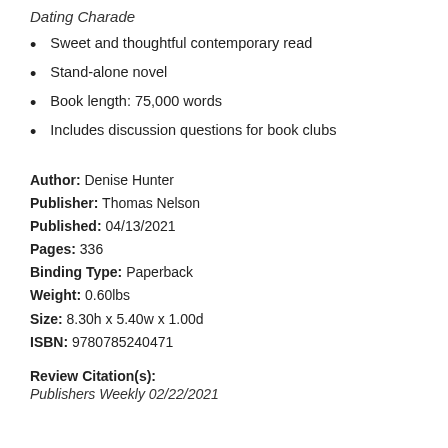Dating Charade
Sweet and thoughtful contemporary read
Stand-alone novel
Book length: 75,000 words
Includes discussion questions for book clubs
Author: Denise Hunter
Publisher: Thomas Nelson
Published: 04/13/2021
Pages: 336
Binding Type: Paperback
Weight: 0.60lbs
Size: 8.30h x 5.40w x 1.00d
ISBN: 9780785240471
Review Citation(s):
Publishers Weekly 02/22/2021